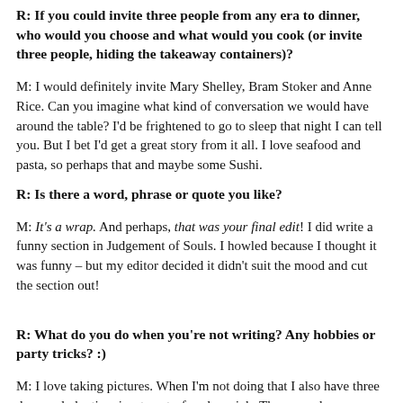R: If you could invite three people from any era to dinner, who would you choose and what would you cook (or invite three people, hiding the takeaway containers)?
M: I would definitely invite Mary Shelley, Bram Stoker and Anne Rice.  Can you imagine what kind of conversation we would have around the table?  I'd be frightened to go to sleep that night I can tell you.  But I bet I'd get a great story from it all. I love seafood and pasta, so perhaps that and maybe some Sushi.
R: Is there a word, phrase or quote you like?
M: It's a wrap.  And perhaps, that was your final edit!  I did write a funny section in Judgement of Souls. I howled because I thought it was funny – but my editor decided it didn't suit the mood and cut the section out!
R: What do you do when you're not writing? Any hobbies or party tricks? :)
M: I love taking pictures.  When I'm not doing that I also have three dogs and playtime is a twenty-four hour job. They can play